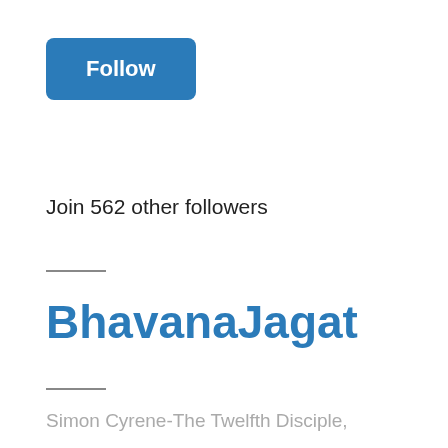[Figure (other): Blue Follow button with rounded corners]
Join 562 other followers
BhavanaJagat
Simon Cyrene-The Twelfth Disciple,